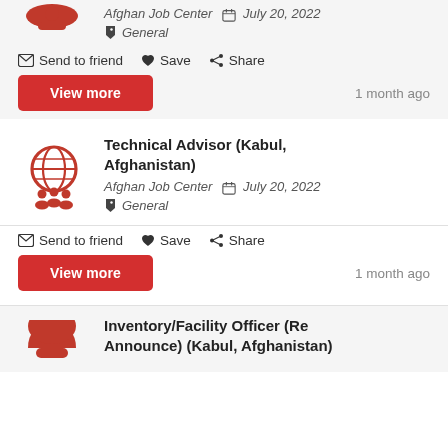Afghan Job Center  July 20, 2022  General
Send to friend  Save  Share
View more  1 month ago
Technical Advisor (Kabul, Afghanistan)
Afghan Job Center  July 20, 2022  General
Send to friend  Save  Share
View more  1 month ago
Inventory/Facility Officer (Re Announce) (Kabul, Afghanistan)